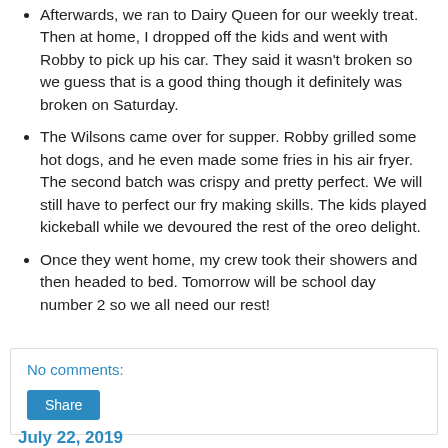Afterwards, we ran to Dairy Queen for our weekly treat. Then at home, I dropped off the kids and went with Robby to pick up his car. They said it wasn't broken so we guess that is a good thing though it definitely was broken on Saturday.
The Wilsons came over for supper. Robby grilled some hot dogs, and he even made some fries in his air fryer. The second batch was crispy and pretty perfect. We will still have to perfect our fry making skills. The kids played kickeball while we devoured the rest of the oreo delight.
Once they went home, my crew took their showers and then headed to bed. Tomorrow will be school day number 2 so we all need our rest!
No comments:
Share
July 22, 2019